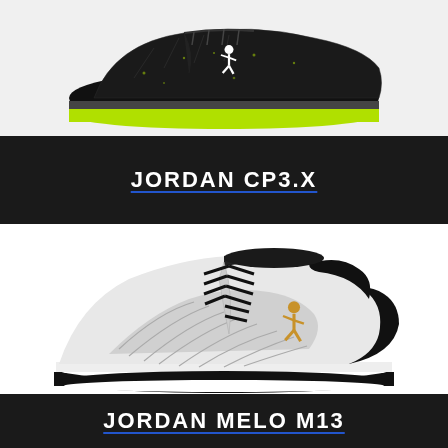[Figure (photo): Jordan CP3.X basketball shoe, black with neon yellow-green sole and Jumpman logo, shown from the side on white background]
JORDAN CP3.X
[Figure (photo): Jordan Melo M13 basketball shoe, white and black mid-top with gold Jumpman logo and textured upper, shown from the side on white background]
JORDAN MELO M13